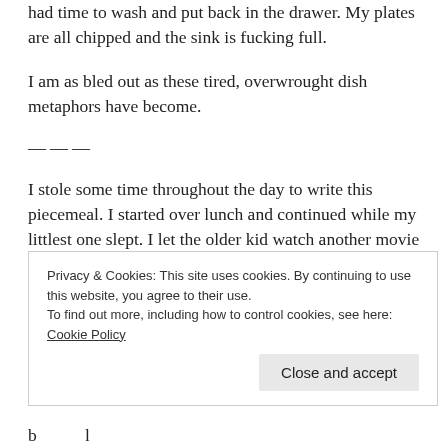had time to wash and put back in the drawer. My plates are all chipped and the sink is fucking full.
I am as bled out as these tired, overwrought dish metaphors have become.
———
I stole some time throughout the day to write this piecemeal. I started over lunch and continued while my littlest one slept. I let the older kid watch another movie on the TV. It's been on almost constantly since 9 o'clock this morning. I'm ashamed but resigned — yes, I know that too much screen time is bad.
Privacy & Cookies: This site uses cookies. By continuing to use this website, you agree to their use.
To find out more, including how to control cookies, see here: Cookie Policy
Close and accept